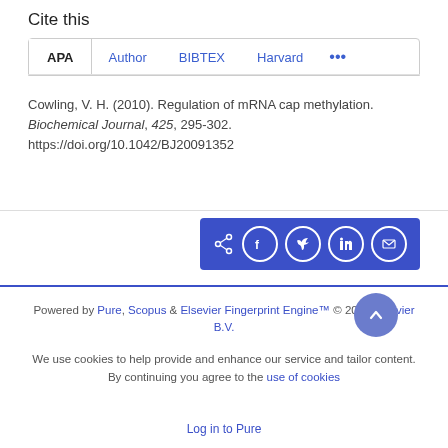Cite this
APA | Author | BIBTEX | Harvard | ...
Cowling, V. H. (2010). Regulation of mRNA cap methylation. Biochemical Journal, 425, 295-302. https://doi.org/10.1042/BJ20091352
[Figure (other): Social share bar with icons: share, Facebook, Twitter, LinkedIn, email on blue background]
Powered by Pure, Scopus & Elsevier Fingerprint Engine™ © 2022 Elsevier B.V.
We use cookies to help provide and enhance our service and tailor content. By continuing you agree to the use of cookies
Log in to Pure